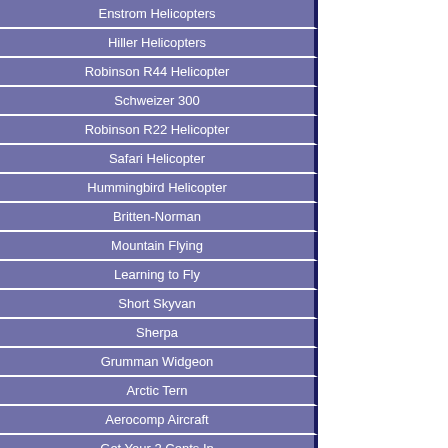Enstrom Helicopters
Hiller Helicopters
Robinson R44 Helicopter
Schweizer 300
Robinson R22 Helicopter
Safari Helicopter
Hummingbird Helicopter
Britten-Norman
Mountain Flying
Learning to Fly
Short Skyvan
Sherpa
Grumman Widgeon
Arctic Tern
Aerocomp Aircraft
Get Your 2 Cents In
Aviation Oopsie
Bushwhackers Fun Page